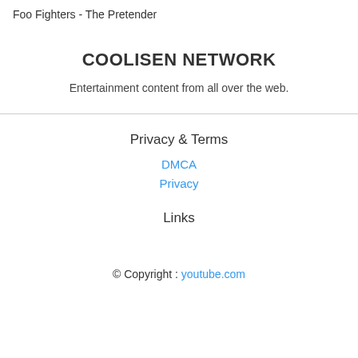Foo Fighters - The Pretender
COOLISEN NETWORK
Entertainment content from all over the web.
Privacy & Terms
DMCA
Privacy
Links
© Copyright : youtube.com